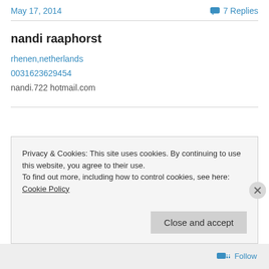May 17, 2014   💬 7 Replies
nandi raaphorst
rhenen,netherlands
0031623629454
nandi.722 hotmail.com
Privacy & Cookies: This site uses cookies. By continuing to use this website, you agree to their use.
To find out more, including how to control cookies, see here: Cookie Policy